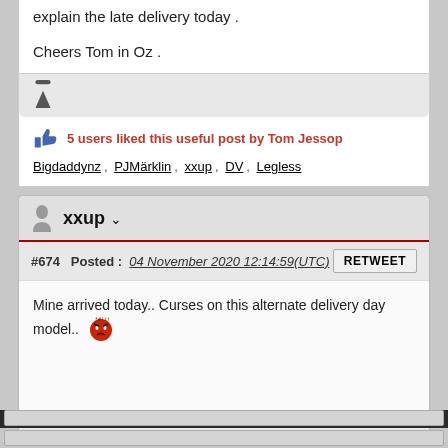explain the late delivery today .
Cheers Tom in Oz .
5 users liked this useful post by Tom Jessop
Bigdaddynz , PJMärklin , xxup , DV , Legless
xxup
#674  Posted : 04 November 2020 12:14:59(UTC)
Mine arrived today.. Curses on this alternate delivery day model..
Adrian